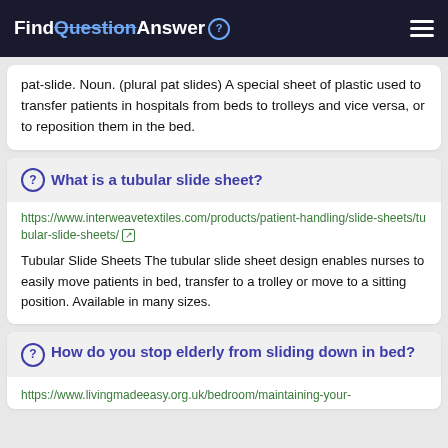FindQuestionAnswer
pat-slide. Noun. (plural pat slides) A special sheet of plastic used to transfer patients in hospitals from beds to trolleys and vice versa, or to reposition them in the bed.
What is a tubular slide sheet?
https://www.interweavetextiles.com/products/patient-handling/slide-sheets/tubular-slide-sheets/
Tubular Slide Sheets The tubular slide sheet design enables nurses to easily move patients in bed, transfer to a trolley or move to a sitting position. Available in many sizes.
How do you stop elderly from sliding down in bed?
https://www.livingmadeeasy.org.uk/bedroom/maintaining-your-